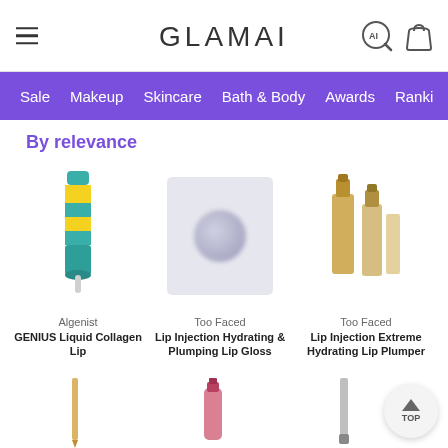GLAMAI — navigation header with hamburger menu, logo, AI search icon, and cart icon
[Figure (screenshot): GLAMAI website header with hamburger menu on left, GLAMAI logo center, AI search and bag icons on right]
[Figure (infographic): Purple navigation bar with links: Sale, Makeup, Skincare, Bath & Body, Awards, Ranki...]
By relevance
[Figure (photo): Algenist GENIUS Liquid Collagen Lip product — tube with teal and yellow stripe design]
Algenist
GENIUS Liquid Collagen Lip
[Figure (photo): Too Faced Lip Injection Hydrating & Plumping Lip Gloss — round compact with blurred/frosted appearance]
Too Faced
Lip Injection Hydrating & Plumping Lip Gloss
[Figure (photo): Too Faced Lip Injection Extreme Hydrating Lip Plumper — gold bottles]
Too Faced
Lip Injection Extreme Hydrating Lip Plumper
[Figure (photo): Second row: three partially visible beauty products — a thin gold pencil/pen, a pink bottle, and a grey tube]
[Figure (infographic): TOP scroll-to-top button — circular grey button with upward triangle arrow and TOP label]